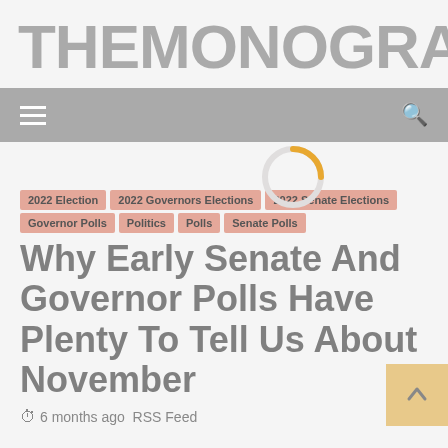THEMONOGRAPH
≡  🔍
2022 Election
2022 Governors Elections
2022 Senate Elections
Governor Polls
Politics
Polls
Senate Polls
Why Early Senate And Governor Polls Have Plenty To Tell Us About November
6 months ago  RSS Feed